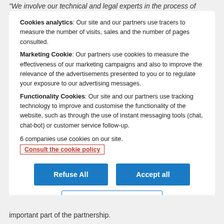"We involve our technical and legal experts in the process of
Cookies analytics: Our site and our partners use tracers to measure the number of visits, sales and the number of pages consulted. Marketing Cookie: Our partners use cookies to measure the effectiveness of our marketing campaigns and also to improve the relevance of the advertisements presented to you or to regulate your exposure to our advertising messages. Functionality Cookies: Our site and our partners use tracking technology to improve and customise the functionality of the website, such as through the use of instant messaging tools (chat, chat-bot) or customer service follow-up.
6 companies use cookies on our site.
Consult the cookie policy
Refuse All
Accept all
Personalise my choices
important part of the partnership.